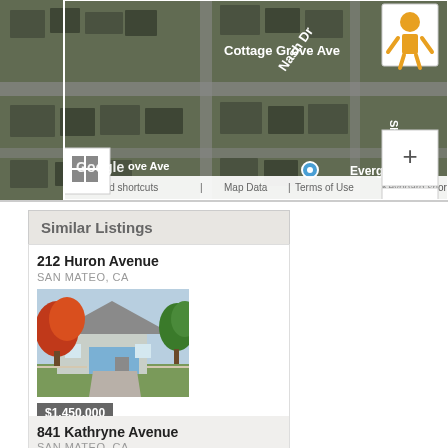[Figure (map): Google Maps satellite view showing Cottage Grove Ave, Nash Dr, Shoreview Ave, Evergreen St intersection in San Mateo CA area. Aerial/satellite imagery with map controls (zoom +/-), street view icon, grid/layers button, and Google branding. Bottom bar shows Keyboard shortcuts, Map Data, Terms of Use.]
Similar Listings
212 Huron Avenue
SAN MATEO, CA
[Figure (photo): Photo of a single-story house with blue garage door and autumn foliage trees]
$1,450,000
3 Beds  2 Baths  1,120 sqft
[Figure (logo): MLSListings logo with magnifying glass icon]
841 Kathryne Avenue
SAN MATEO, CA